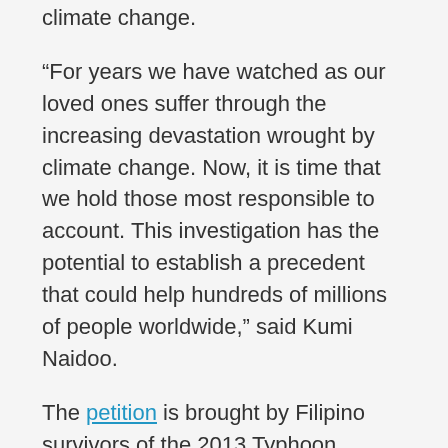climate change.
“For years we have watched as our loved ones suffer through the increasing devastation wrought by climate change. Now, it is time that we hold those most responsible to account. This investigation has the potential to establish a precedent that could help hundreds of millions of people worldwide,” said Kumi Naidoo.
The petition is brought by Filipino survivors of the 2013 Typhoon Yolanda (Haiyan) and other extreme weather events, along with more than a dozen organizations including Greenpeace Southeast Asia. It names 47 fossil-fuel companies as responsible for the human rights abuses resulting from climate change, such as the loss of life of those killed in the typhoon.
BP, BHP Billiton, Chevron, ExxonMobil, Shell, Total and